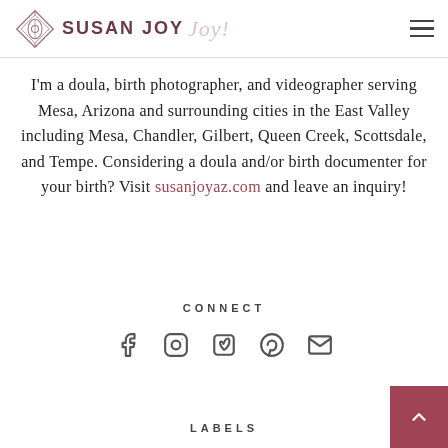SUSAN JOY Joy!
I'm a doula, birth photographer, and videographer serving Mesa, Arizona and surrounding cities in the East Valley including Mesa, Chandler, Gilbert, Queen Creek, Scottsdale, and Tempe. Considering a doula and/or birth documenter for your birth? Visit susanjoyaz.com and leave an inquiry!
CONNECT
[Figure (other): Social media icons row: Facebook, Instagram, Vimeo, Pinterest, Email]
LABELS